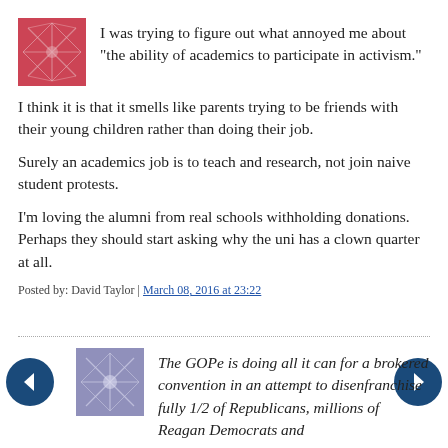[Figure (illustration): Red/pink avatar icon with geometric pattern]
I was trying to figure out what annoyed me about “the ability of academics to participate in activism.”
I think it is that it smells like parents trying to be friends with their young children rather than doing their job.
Surely an academics job is to teach and research, not join naive student protests.
I’m loving the alumni from real schools withholding donations. Perhaps they should start asking why the uni has a clown quarter at all.
Posted by: David Taylor | March 08, 2016 at 23:22
[Figure (illustration): Blue/grey avatar icon with geometric star pattern]
The GOPe is doing all it can for a brokered convention in an attempt to disenfranchise fully 1/2 of Republicans, millions of Reagan Democrats and